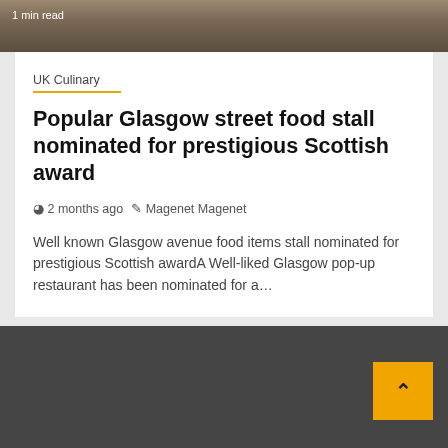[Figure (photo): Top photo strip of a restaurant or cafe interior, partially visible, with text '1 min read' overlaid in white]
UK Culinary
Popular Glasgow street food stall nominated for prestigious Scottish award
2 months ago  Magenet Magenet
Well known Glasgow avenue food items stall nominated for prestigious Scottish awardA Well-liked Glasgow pop-up restaurant has been nominated for a...